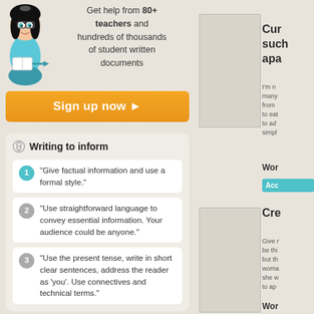Get help from 80+ teachers and hundreds of thousands of student written documents
[Figure (illustration): Cartoon mascot of a teacher/librarian woman with black hair, glasses, blue outfit, holding books]
Sign up now ▶
Writing to inform
"Give factual information and use a formal style."
"Use straightforward language to convey essential information. Your audience could be anyone."
"Use the present tense, write in short clear sentences, address the reader as 'you'. Use connectives and technical terms."
[Figure (photo): Image placeholder 1 - top right area]
Cur such apa
I'm n many from to eat to ad simpl
Wor
Acc
[Figure (photo): Image placeholder 2 - lower right area]
Cre
Give r be thi but th woma she w to ap
Wor